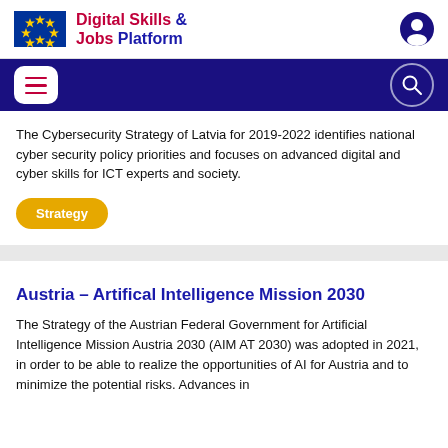[Figure (logo): Digital Skills & Jobs Platform header with EU flag logo and user icon]
[Figure (screenshot): Navigation bar with hamburger menu and search icon on dark blue background]
The Cybersecurity Strategy of Latvia for 2019-2022 identifies national cyber security policy priorities and focuses on advanced digital and cyber skills for ICT experts and society.
Strategy
Austria – Artifical Intelligence Mission 2030
The Strategy of the Austrian Federal Government for Artificial Intelligence Mission Austria 2030 (AIM AT 2030) was adopted in 2021, in order to be able to realize the opportunities of AI for Austria and to minimize the potential risks. Advances in